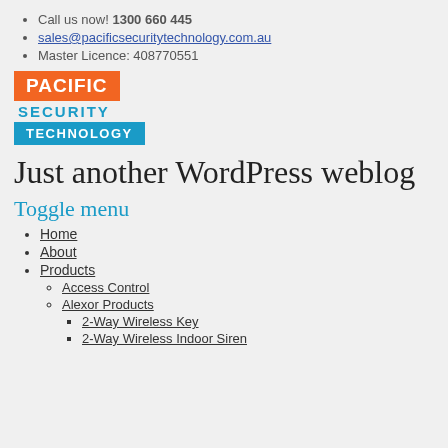Call us now! 1300 660 445
sales@pacificsecuritytechnology.com.au
Master Licence: 408770551
[Figure (logo): Pacific Security Technology logo with three stacked blocks: orange block with PACIFIC, blue text SECURITY, and cyan block with TECHNOLOGY]
Just another WordPress weblog
Toggle menu
Home
About
Products
Access Control
Alexor Products
2-Way Wireless Key
2-Way Wireless Indoor Siren